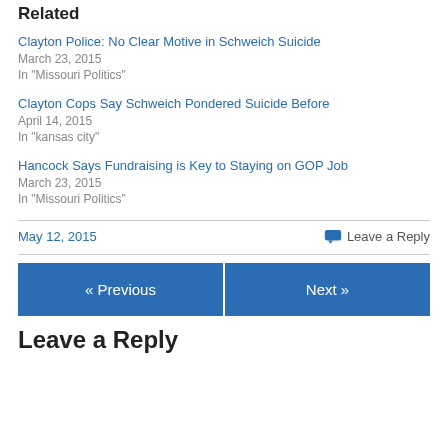Related
Clayton Police: No Clear Motive in Schweich Suicide
March 23, 2015
In "Missouri Politics"
Clayton Cops Say Schweich Pondered Suicide Before
April 14, 2015
In "kansas city"
Hancock Says Fundraising is Key to Staying on GOP Job
March 23, 2015
In "Missouri Politics"
May 12, 2015    Leave a Reply
« Previous    Next »
Leave a Reply